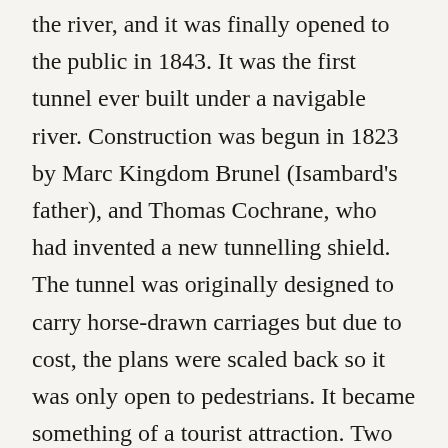the river, and it was finally opened to the public in 1843. It was the first tunnel ever built under a navigable river. Construction was begun in 1823 by Marc Kingdom Brunel (Isambard's father), and Thomas Cochrane, who had invented a new tunnelling shield. The tunnel was originally designed to carry horse-drawn carriages but due to cost, the plans were scaled back so it was only open to pedestrians. It became something of a tourist attraction. Two million people paid a penny every year to pass through. In 1869, it was converted into a railway tunnel and is still in use today. William Ford and his parents must have used the Thames Tunnel frequently, as both Old Gravel Lane and Lemon Gun Alley in Wapping were very close to the